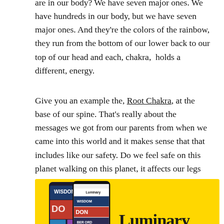are in our body?  We have seven major ones. We have hundreds in our body, but we have seven major ones. And they're the colors of the rainbow, they run from the bottom of our lower back to our top of our head and each, chakra,  holds a different, energy.
Give you an example the, Root Chakra, at the base of our spine. That's really about the messages we got from our parents from when we came into this world and it makes sense that that includes like our safety. Do we feel safe on this planet walking on this planet, it affects our legs and affects our feet. So as we go as we inform ourselves about each, chakra, we really can it kind of makes sense.
[Figure (photo): Luminary podcast app advertisement with yellow background showing smartphone mockups displaying various podcast covers including 'Wisdom' and 'Don', with the Luminary logo text on the right side.]